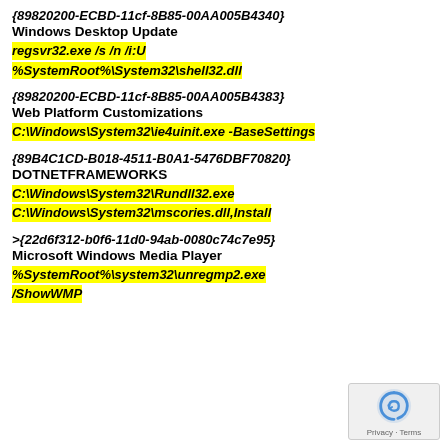{89820200-ECBD-11cf-8B85-00AA005B4340}
Windows Desktop Update
regsvr32.exe /s /n /i:U %SystemRoot%\System32\shell32.dll
{89820200-ECBD-11cf-8B85-00AA005B4383}
Web Platform Customizations
C:\Windows\System32\ie4uinit.exe -BaseSettings
{89B4C1CD-B018-4511-B0A1-5476DBF70820}
DOTNETFRAMEWORKS
C:\Windows\System32\Rundll32.exe C:\Windows\System32\mscories.dll,Install
>{22d6f312-b0f6-11d0-94ab-0080c74c7e95}
Microsoft Windows Media Player
%SystemRoot%\system32\unregmp2.exe /ShowWMP